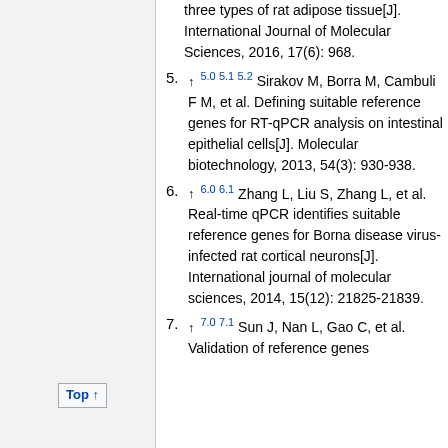(continuation) three types of rat adipose tissue[J]. International Journal of Molecular Sciences, 2016, 17(6): 968.
5. ↑ 5.0 5.1 5.2 Sirakov M, Borra M, Cambuli F M, et al. Defining suitable reference genes for RT-qPCR analysis on intestinal epithelial cells[J]. Molecular biotechnology, 2013, 54(3): 930-938.
6. ↑ 6.0 6.1 Zhang L, Liu S, Zhang L, et al. Real-time qPCR identifies suitable reference genes for Borna disease virus-infected rat cortical neurons[J]. International journal of molecular sciences, 2014, 15(12): 21825-21839.
7. ↑ 7.0 7.1 Sun J, Nan L, Gao C, et al. Validation of reference genes...